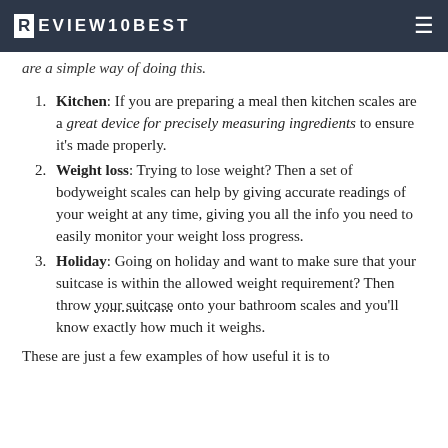REVIEW10BEST
are a simple way of doing this.
Kitchen: If you are preparing a meal then kitchen scales are a great device for precisely measuring ingredients to ensure it's made properly.
Weight loss: Trying to lose weight? Then a set of bodyweight scales can help by giving accurate readings of your weight at any time, giving you all the info you need to easily monitor your weight loss progress.
Holiday: Going on holiday and want to make sure that your suitcase is within the allowed weight requirement? Then throw your suitcase onto your bathroom scales and you'll know exactly how much it weighs.
These are just a few examples of how useful it is to